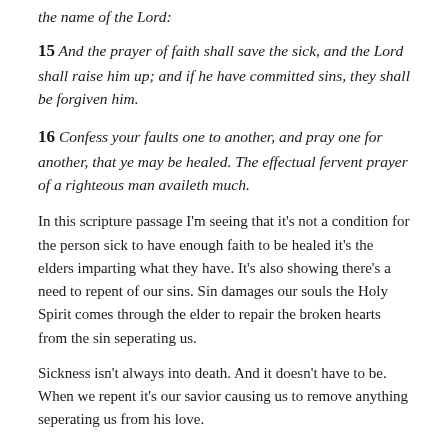the name of the Lord:
15 And the prayer of faith shall save the sick, and the Lord shall raise him up; and if he have committed sins, they shall be forgiven him.
16 Confess your faults one to another, and pray one for another, that ye may be healed. The effectual fervent prayer of a righteous man availeth much.
In this scripture passage I'm seeing that it's not a condition for the person sick to have enough faith to be healed it's the elders imparting what they have. It's also showing there's a need to repent of our sins. Sin damages our souls the Holy Spirit comes through the elder to repair the broken hearts from the sin seperating us.
Sickness isn't always into death. And it doesn't have to be. When we repent it's our savior causing us to remove anything seperating us from his love.